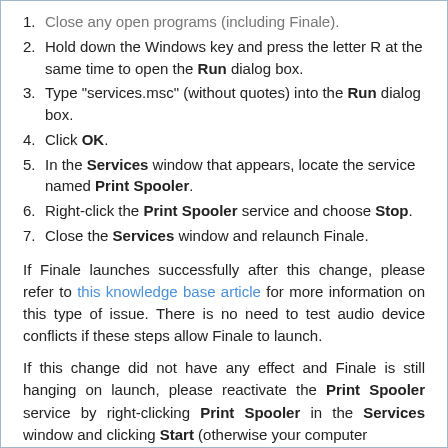1. Close any open programs (including Finale).
2. Hold down the Windows key and press the letter R at the same time to open the Run dialog box.
3. Type "services.msc" (without quotes) into the Run dialog box.
4. Click OK.
5. In the Services window that appears, locate the service named Print Spooler.
6. Right-click the Print Spooler service and choose Stop.
7. Close the Services window and relaunch Finale.
If Finale launches successfully after this change, please refer to this knowledge base article for more information on this type of issue. There is no need to test audio device conflicts if these steps allow Finale to launch.
If this change did not have any effect and Finale is still hanging on launch, please reactivate the Print Spooler service by right-clicking Print Spooler in the Services window and clicking Start (otherwise your computer